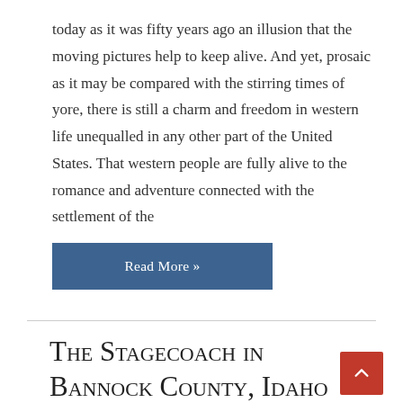today as it was fifty years ago an illusion that the moving pictures help to keep alive. And yet, prosaic as it may be compared with the stirring times of yore, there is still a charm and freedom in western life unequalled in any other part of the United States. That western people are fully alive to the romance and adventure connected with the settlement of the
...
Read More »
The Stagecoach in Bannock County, Idaho